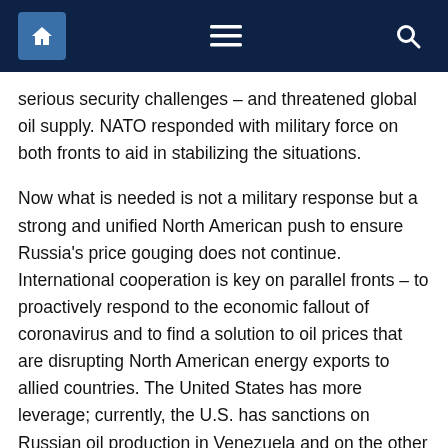Navigation bar with home, menu, and search icons
serious security challenges – and threatened global oil supply. NATO responded with military force on both fronts to aid in stabilizing the situations.
Now what is needed is not a military response but a strong and unified North American push to ensure Russia's price gouging does not continue. International cooperation is key on parallel fronts – to proactively respond to the economic fallout of coronavirus and to find a solution to oil prices that are disrupting North American energy exports to allied countries. The United States has more leverage; currently, the U.S. has sanctions on Russian oil production in Venezuela and on the other side, America has worked closely with Saudi Arabia on oil production measures before. The U.S. negotiators will have to convince the Saudis to decrease production, and either strike a deal to ensure the Russian's